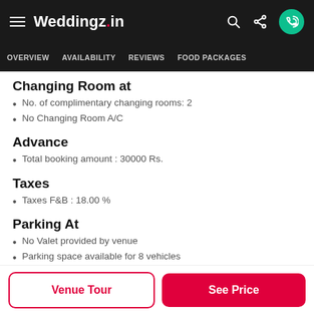Weddingz.in
OVERVIEW  AVAILABILITY  REVIEWS  FOOD PACKAGES
Changing Room at
No. of complimentary changing rooms: 2
No Changing Room A/C
Advance
Total booking amount : 30000 Rs.
Taxes
Taxes F&B : 18.00 %
Parking At
No Valet provided by venue
Parking space available for 8 vehicles
Cancellation
Venue Tour
See Price